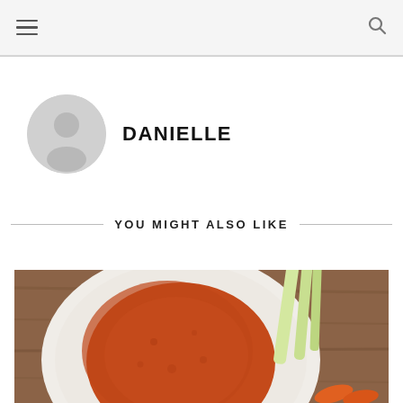Navigation bar with menu and search icons
DANIELLE
YOU MIGHT ALSO LIKE
[Figure (photo): A plate of orange-red textured spread or dip on a white plate, with pale green celery stalks and carrots on a wooden cutting board background]